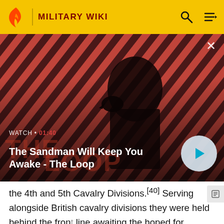MILITARY WIKI
[Figure (screenshot): Video thumbnail for 'The Sandman Will Keep You Awake - The Loop' with a dark figure and a raven against a red diagonal striped background. Shows WATCH · 01:40 label and a play button.]
the 4th and 5th Cavalry Divisions.[40] Serving alongside British cavalry divisions they were held behind the front line awaiting the hoped for breakthrough. At times during the war they served in the trenches as infantry, each cavalry brigade when dismounted formed a dismounted